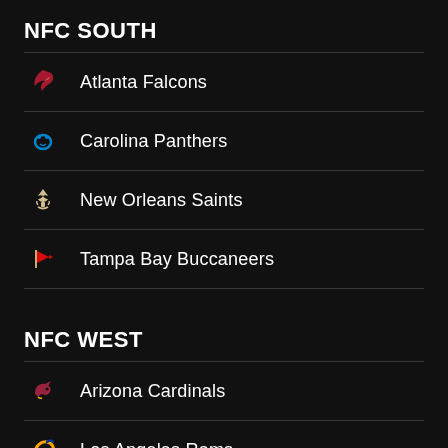NFC SOUTH
Atlanta Falcons
Carolina Panthers
New Orleans Saints
Tampa Bay Buccaneers
NFC WEST
Arizona Cardinals
Los Angeles Rams
Server Time: 08/28/2022 3:24:22 p.m.